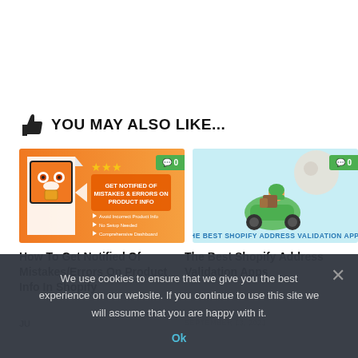YOU MAY ALSO LIKE...
[Figure (illustration): Orange banner with owl mascot logo and text: GET NOTIFIED OF MISTAKES & ERRORS ON PRODUCT INFO]
[Figure (illustration): Light blue banner with delivery person on scooter and text: THE BEST SHOPIFY ADDRESS VALIDATION APPS]
How To Get Notified Of Mistakes/Errors On Product Info In Shopify
The Best Shopify Address Validation Apps
We use cookies to ensure that we give you the best experience on our website. If you continue to use this site we will assume that you are happy with it.
Ok